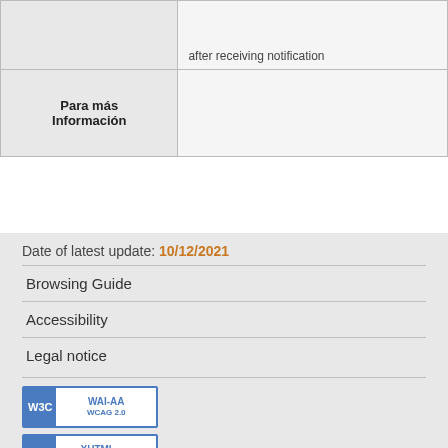|  | after receiving notification |
| Para más Información |  |
Date of latest update: 10/12/2021
Browsing Guide
Accessibility
Legal notice
[Figure (logo): W3C WAI-AA WCAG 2.0 compliance badge]
[Figure (logo): W3C XHTML 1.0 compliance badge]
[Figure (logo): W3C CSS compliance badge]